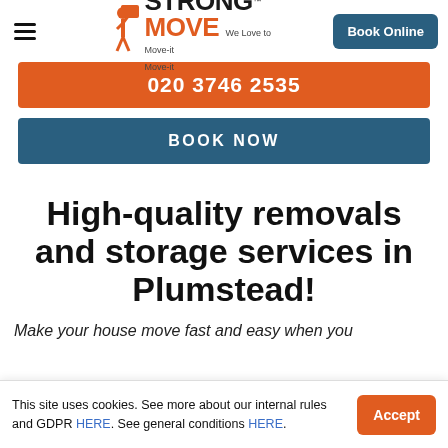[Figure (logo): Strong Move logo with orange figure carrying box, company name in black and orange, tagline 'We Love to Move-it Move-it']
020 3746 2535
BOOK NOW
High-quality removals and storage services in Plumstead!
Make your house move fast and easy when you
This site uses cookies. See more about our internal rules and GDPR HERE. See general conditions HERE.